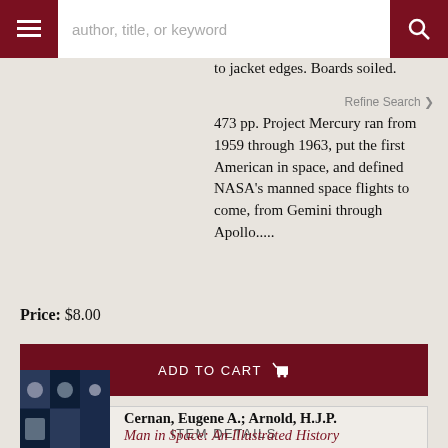author, title, or keyword
Club (BCE/BOMC). Hard Cover.
to jacket edges. Boards soiled.
473 pp. Project Mercury ran from 1959 through 1963, put the first American in space, and defined NASA's manned space flights to come, from Gemini through Apollo.....
Price: $8.00
ADD TO CART
ITEM DETAILS
Cernan, Eugene A.; Arnold, H.J.P.
Man in Space: An Illustrated History